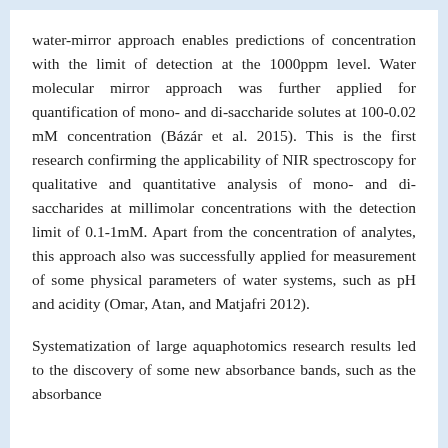water-mirror approach enables predictions of concentration with the limit of detection at the 1000ppm level. Water molecular mirror approach was further applied for quantification of mono- and di-saccharide solutes at 100-0.02 mM concentration (Bázár et al. 2015). This is the first research confirming the applicability of NIR spectroscopy for qualitative and quantitative analysis of mono- and di-saccharides at millimolar concentrations with the detection limit of 0.1-1mM. Apart from the concentration of analytes, this approach also was successfully applied for measurement of some physical parameters of water systems, such as pH and acidity (Omar, Atan, and Matjafri 2012).
Systematization of large aquaphotomics research results led to the discovery of some new absorbance bands, such as the absorbance